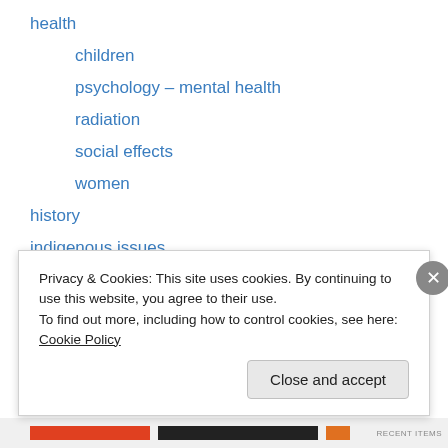health
children
psychology – mental health
radiation
social effects
women
history
indigenous issues
Legal
deaths by radiation
legal
marketing of nuclear
media
Privacy & Cookies: This site uses cookies. By continuing to use this website, you agree to their use.
To find out more, including how to control cookies, see here: Cookie Policy
Close and accept